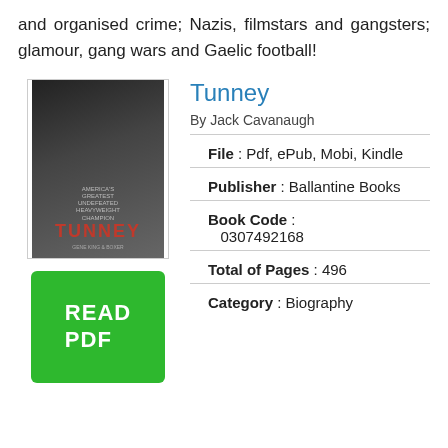and organised crime; Nazis, filmstars and gangsters; glamour, gang wars and Gaelic football!
Tunney
By Jack Cavanaugh
[Figure (illustration): Book cover for 'Tunney' showing a black and white boxing photo with red title text at bottom]
[Figure (other): Green READ PDF button]
File : Pdf, ePub, Mobi, Kindle
Publisher : Ballantine Books
Book Code : 0307492168
Total of Pages : 496
Category : Biography